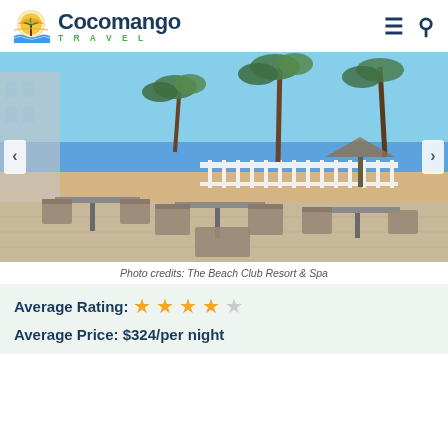Cocomango TRAVEL
[Figure (photo): Outdoor patio dining area of The Beach Club Resort & Spa with wicker chairs and tables, white railing fence, palm trees, beach and ocean in the background, blue sky]
Photo credits: The Beach Club Resort & Spa
Average Rating: ★★★★☆
Average Price: $324/per night